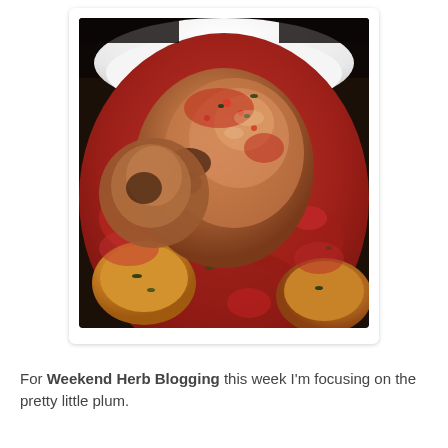[Figure (photo): A white bowl containing braised or stewed meat (pork or poultry) pieces in a rich red tomato-based sauce with chunks of golden potato or squash and herbs, close-up food photography]
For Weekend Herb Blogging this week I'm focusing on the pretty little plum.